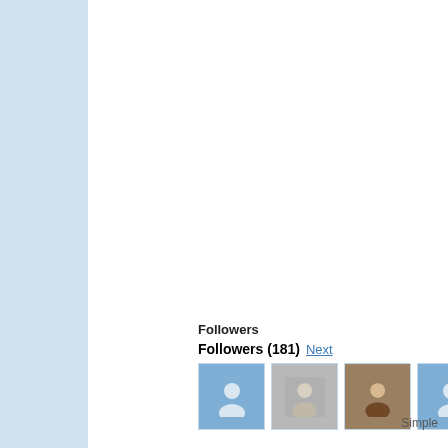journeyman kubuki moose zombies music new philosophy math poetry edge redefinition of man scrivening shipwreck stats stories stranger the spiral arm the wr abendlandes unt die whimsy words at pla
Followers
Followers (181) Next
[Figure (other): Row of follower avatar thumbnails — mix of default blue person icons and actual profile photos]
Simple